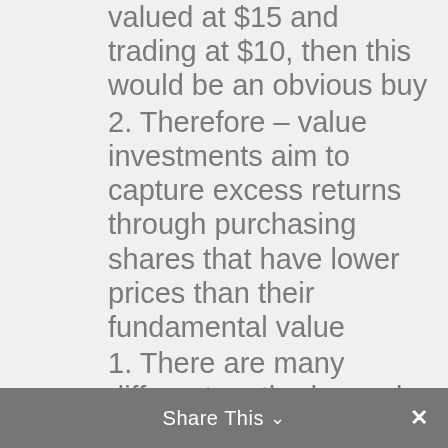valued at $15 and trading at $10, then this would be an obvious buy
2. Therefore – value investments aim to capture excess returns through purchasing shares that have lower prices than their fundamental value
1. There are many different methods used – but most commonly, value managers track price to book and price to earnings ratios, dividend growth forecasts, and the present value of free cash flows as part of their fundamental analysis